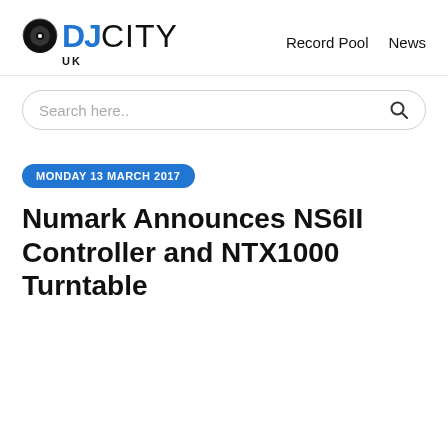DJCity UK — Record Pool  News
Search here..
MONDAY 13 MARCH 2017
Numark Announces NS6II Controller and NTX1000 Turntable